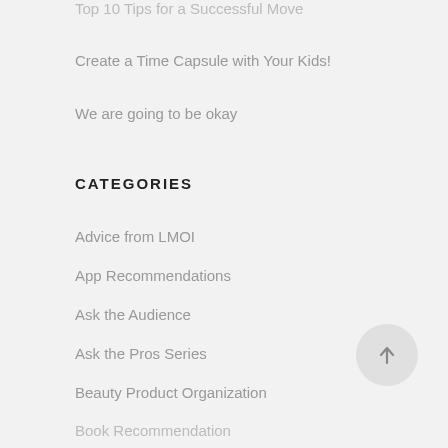Top 10 Tips for a Successful Move
Create a Time Capsule with Your Kids!
We are going to be okay
CATEGORIES
Advice from LMOI
App Recommendations
Ask the Audience
Ask the Pros Series
Beauty Product Organization
Book Recommendation
Business